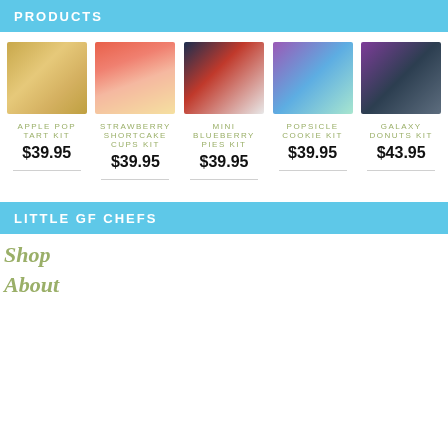PRODUCTS
[Figure (photo): Apple Pop Tart Kit product photo - golden pastries on white plate]
[Figure (photo): Strawberry Shortcake Cups Kit product photo - layered dessert cups with strawberries]
[Figure (photo): Mini Blueberry Pies Kit product photo - mini pies on dark background]
[Figure (photo): Popsicle Cookie Kit product photo - colorful popsicles with sprinkles]
[Figure (photo): Galaxy Donuts Kit product photo - purple donuts with colorful sprinkles]
APPLE POP
TART KIT
$39.95
STRAWBERRY
SHORTCAKE
CUPS KIT
$39.95
MINI
BLUEBERRY
PIES KIT
$39.95
POPSICLE
COOKIE KIT
$39.95
GALAXY
DONUTS KIT
$43.95
LITTLE GF CHEFS
Shop
About